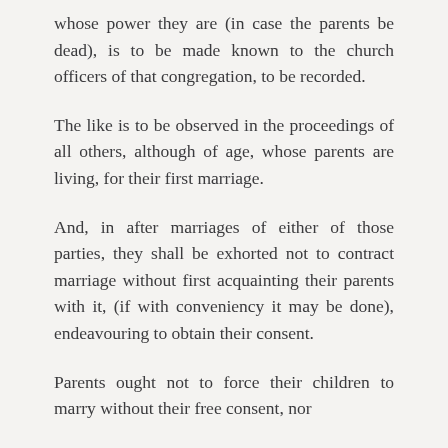whose power they are (in case the parents be dead), is to be made known to the church officers of that congregation, to be recorded.
The like is to be observed in the proceedings of all others, although of age, whose parents are living, for their first marriage.
And, in after marriages of either of those parties, they shall be exhorted not to contract marriage without first acquainting their parents with it, (if with conveniency it may be done), endeavouring to obtain their consent.
Parents ought not to force their children to marry without their free consent, nor